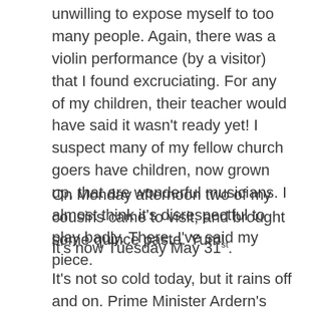unwilling to expose myself to too many people. Again, there was a violin performance (by a visitor) that I found excruciating. For any of my children, their teacher would have said it wasn't ready yet! I suspect many of my fellow church goers have children, now grown up, that are wonderful musicians. I almost think it's disrespectful to play badly. There, I've said my piece.
On Monday afternoon two of my cousins came to visit, and brought some quince paste. Yum!
It's now Tuesday May 31st.
It's not so cold today, but it rains off and on. Prime Minister Ardern's delegation to the US has a third person sick with Covid 19, and her Air Force plane